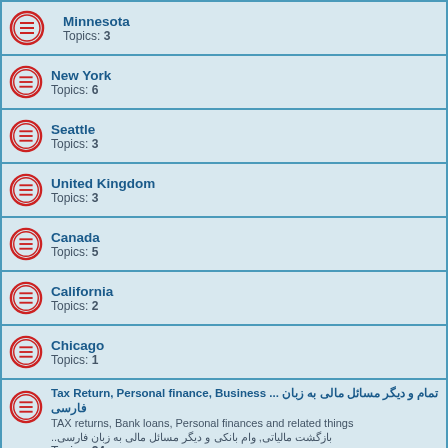Minnesota
Topics: 3
New York
Topics: 6
Seattle
Topics: 3
United Kingdom
Topics: 3
Canada
Topics: 5
California
Topics: 2
Chicago
Topics: 1
Tax Return, Personal finance, Business ... 
TAX returns, Bank loans, Personal finances and related things
Topics: 24
New Topic